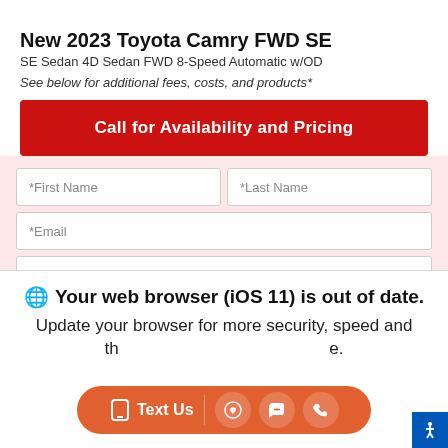New 2023 Toyota Camry FWD SE
SE Sedan 4D Sedan FWD 8-Speed Automatic w/OD
See below for additional fees, costs, and products*
Call for Availability and Pricing
[Figure (screenshot): Contact form with fields: *First Name, *Last Name, *Email, *Phone, I PREFER TO TEXT checkbox, and Get Instant E-Price button]
Your web browser (iOS 11) is out of date. Update your browser for more security, speed and the best experience on this site.
Text Us